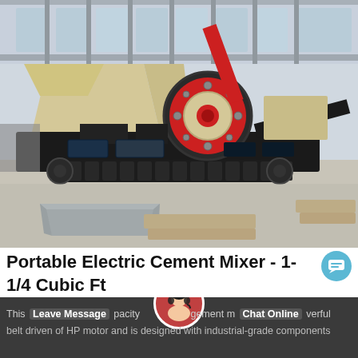[Figure (photo): Large industrial mobile jaw crusher / heavy mining equipment on tracks inside a factory/warehouse with tall windows. The machine features cream/tan colored crusher body, red flywheel, black frame and track undercarriage. In the foreground is a gray metal pan/trough and wooden beams.]
Portable Electric Cement Mixer - 1-1/4 Cubic Ft
This Leave Message pacity gement m Chat Online verful belt driven of HP motor and is designed with industrial-grade components